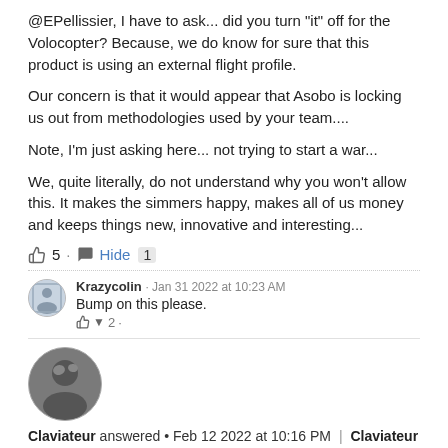@EPellissier, I have to ask... did you turn "it" off for the Volocopter? Because, we do know for sure that this product is using an external flight profile.
Our concern is that it would appear that Asobo is locking us out from methodologies used by your team....
Note, I'm just asking here... not trying to start a war...
We, quite literally, do not understand why you won't allow this. It makes the simmers happy, makes all of us money and keeps things new, innovative and interesting...
👍 5 · 💬 Hide 1
Krazycolin · Jan 31 2022 at 10:23 AM
Bump on this please.
👍 ▾ 2 ·
Claviateur answered • Feb 12 2022 at 10:16 PM | Claviateur edited • Feb 12 2022 at 10:18 PM